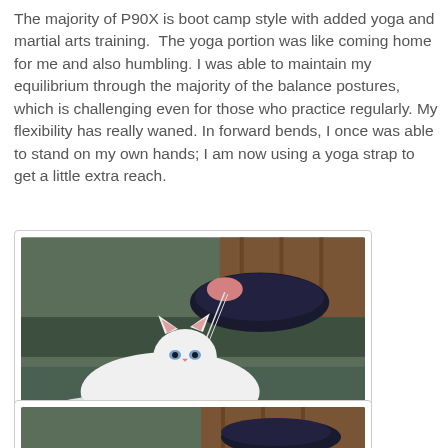The majority of P90X is boot camp style with added yoga and martial arts training.  The yoga portion was like coming home for me and also humbling. I was able to maintain my equilibrium through the majority of the balance postures, which is challenging even for those who practice regularly. My flexibility has really waned. In forward bends, I once was able to stand on my own hands; I am now using a yoga strap to get a little extra reach.
[Figure (photo): White cat lying on green carpet/stairs next to a dark sneaker with shoelace. Wooden wall visible in background.]
Mermaid appreciates the benefits of new sneakers.
[Figure (photo): Partial view of similar scene — stairs and shoe visible at bottom of page.]